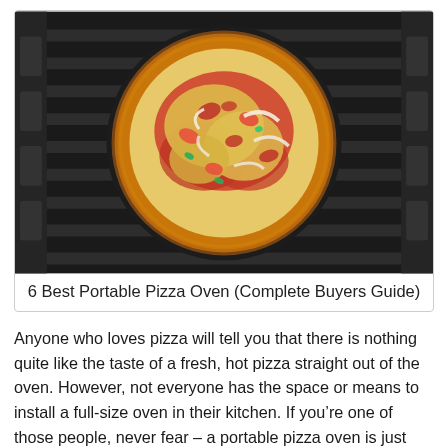[Figure (photo): Overhead photo of a pizza with tomatoes, peppers, onions, and melted cheese in a dark round pan on a black grill grate]
6 Best Portable Pizza Oven (Complete Buyers Guide)
Anyone who loves pizza will tell you that there is nothing quite like the taste of a fresh, hot pizza straight out of the oven. However, not everyone has the space or means to install a full-size oven in their kitchen. If you’re one of those people, never fear – a portable pizza oven is just what you need! These small and convenient ovens can be used anywhere, and they come in a variety of shapes and sizes to fit your needs. So, if you’re looking for a quick and easy way